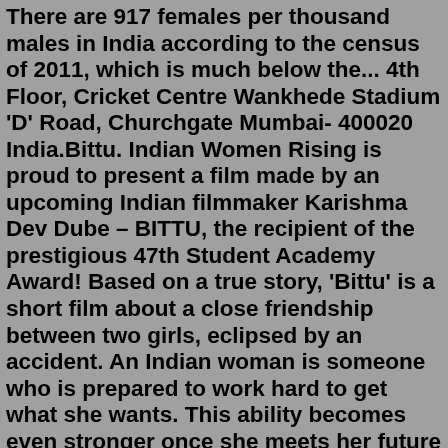There are 917 females per thousand males in India according to the census of 2011, which is much below the... 4th Floor, Cricket Centre Wankhede Stadium 'D' Road, Churchgate Mumbai- 400020 India.Bittu. Indian Women Rising is proud to present a film made by an upcoming Indian filmmaker Karishma Dev Dube – BITTU, the recipient of the prestigious 47th Student Academy Award! Based on a true story, 'Bittu' is a short film about a close friendship between two girls, eclipsed by an accident. An Indian woman is someone who is prepared to work hard to get what she wants. This ability becomes even stronger once she meets her future husband. Together with him, she will overcome every obstacle to make sure her family is happy, comfortable, and has everything it needs. Respectful and modest Enlarge Original Caption: Eskimo Mother and Child in Furs, Nome, Alaska; Bust-length, with Child on Back. Local Identifier: 126-ARA-2-235, National Archives Identifier: 532339. View in National Archives Catalog The pictures described in this list portray Native Americans, their